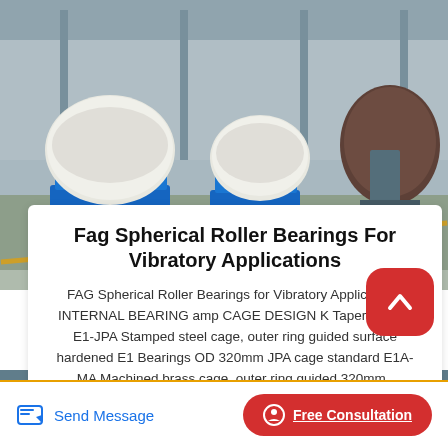[Figure (photo): Industrial warehouse/factory floor with large white wrapped products on blue pallets, machinery visible in background. Yellow safety lines on green/grey floor.]
Fag Spherical Roller Bearings For Vibratory Applications
FAG Spherical Roller Bearings for Vibratory Applications INTERNAL BEARING amp CAGE DESIGN K Tapered bore E1-JPA Stamped steel cage, outer ring guided surface hardened E1 Bearings OD 320mm JPA cage standard E1A-MA Machined brass cage, outer ring guided 320mm..
[Figure (photo): Industrial facility interior, bottom portion showing warehouse shelving and equipment.]
Send Message
Free Consultation